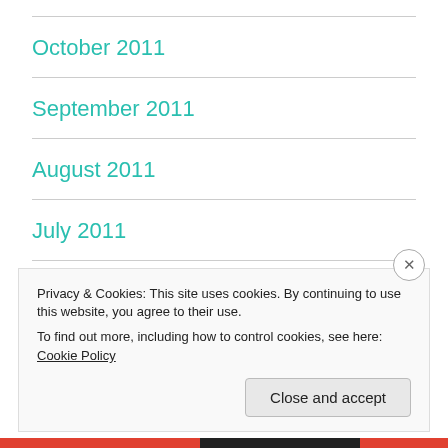October 2011
September 2011
August 2011
July 2011
June 2011
Privacy & Cookies: This site uses cookies. By continuing to use this website, you agree to their use.
To find out more, including how to control cookies, see here: Cookie Policy
Close and accept